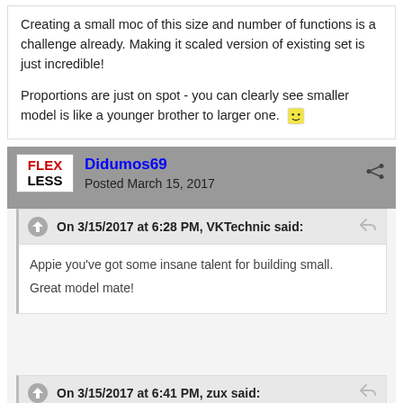Creating a small moc of this size and number of functions is a challenge already. Making it scaled version of existing set is just incredible!
Proportions are just on spot - you can clearly see smaller model is like a younger brother to larger one. 🙂
Didumos69
Posted March 15, 2017
On 3/15/2017 at 6:28 PM, VKTechnic said:
Appie you've got some insane talent for building small. Great model mate!
On 3/15/2017 at 6:41 PM, zux said:
Creating a small moc of this size and number of functions